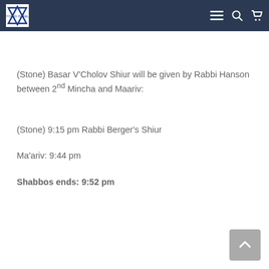[navigation bar with logo, menu, search, cart icons]
(Stone) Basar V’Cholov Shiur will be given by Rabbi Hanson between 2nd Mincha and Maariv:
(Stone) 9:15 pm Rabbi Berger’s Shiur
Ma’ariv: 9:44 pm
Shabbos ends: 9:52 pm